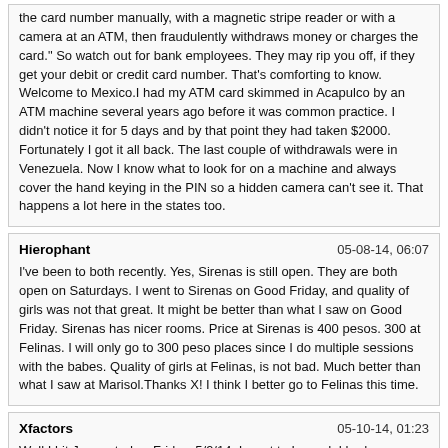the card number manually, with a magnetic stripe reader or with a camera at an ATM, then fraudulently withdraws money or charges the card." So watch out for bank employees. They may rip you off, if they get your debit or credit card number. That's comforting to know. Welcome to Mexico.I had my ATM card skimmed in Acapulco by an ATM machine several years ago before it was common practice. I didn't notice it for 5 days and by that point they had taken $2000. Fortunately I got it all back. The last couple of withdrawals were in Venezuela. Now I know what to look for on a machine and always cover the hand keying in the PIN so a hidden camera can't see it. That happens a lot here in the states too.
Hierophant | 05-08-14, 06:07
I've been to both recently. Yes, Sirenas is still open. They are both open on Saturdays. I went to Sirenas on Good Friday, and quality of girls was not that great. It might be better than what I saw on Good Friday. Sirenas has nicer rooms. Price at Sirenas is 400 pesos. 300 at Felinas. I will only go to 300 peso places since I do multiple sessions with the babes. Quality of girls at Felinas, is not bad. Much better than what I saw at Marisol.Thanks X! I think I better go to Felinas this time.
Xfactors | 05-10-14, 01:23
Well I hit Juarez today, Friday. 5/9/14. I went to Loryed. I had a so-so time there. Nothing great. The women there were nice, but a little on the gordo side for me. I liked the massage rooms at Loryed. Much better than the massage rooms at Felinas. Got with 4 of the babes there. Finally blew my load with the last girl.

I'll be back to check out other 300 peso MP's when I have time. Still beats anything I can find in El Paso by a long shot. Thank gosh for Juarez. Cab ride from Stanton bridge to Loryed was 150 pesos. Loryed is open 6 days a week from 11AM to 9PM. They are closed on Sundays.